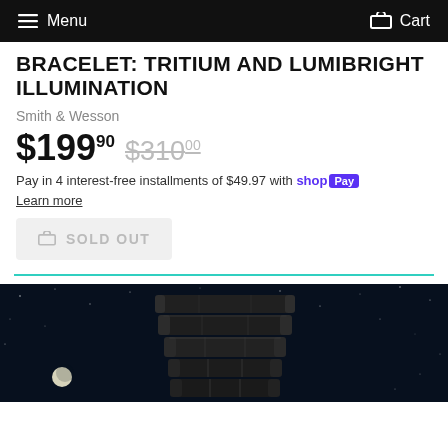Menu  Cart
BRACELET: TRITIUM AND LUMIBRIGHT ILLUMINATION
Smith & Wesson
$199.90  $310.00
Pay in 4 interest-free installments of $49.97 with shop Pay
Learn more
SOLD OUT
[Figure (photo): Black metal watch bracelet / band displayed against a dark starry night sky background with a moon visible in the lower left]